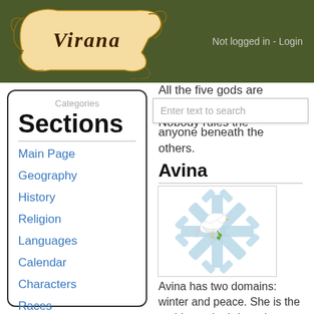Virana — Not logged in - Login
All the five gods are considered equals. Nobody rules the others.
Categories
Sections
Main Page
Geography
History
Religion
Languages
Calendar
Characters
Races
Avina
[Figure (illustration): A snowflake with a dove carrying an olive branch in the center, light blue color scheme]
Avina has two domains: winter and peace. She is the goddess who brings the snow to the lands.